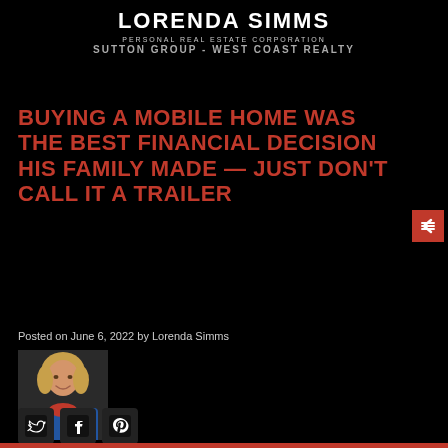LORENDA SIMMS
PERSONAL REAL ESTATE CORPORATION
SUTTON GROUP - WEST COAST REALTY
BUYING A MOBILE HOME WAS THE BEST FINANCIAL DECISION HIS FAMILY MADE — JUST DON'T CALL IT A TRAILER
Posted on June 6, 2022 by Lorenda Simms
[Figure (photo): Headshot photo of Lorenda Simms, a woman with short blonde hair wearing a blue jacket and red scarf]
[Figure (other): Social media sharing icons: Twitter, Facebook, Pinterest]